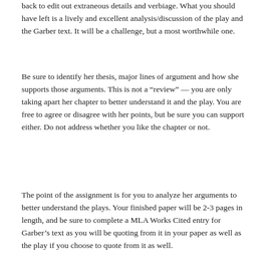back to edit out extraneous details and verbiage. What you should have left is a lively and excellent analysis/discussion of the play and the Garber text. It will be a challenge, but a most worthwhile one.
Be sure to identify her thesis, major lines of argument and how she supports those arguments. This is not a “review” — you are only taking apart her chapter to better understand it and the play. You are free to agree or disagree with her points, but be sure you can support either. Do not address whether you like the chapter or not.
The point of the assignment is for you to analyze her arguments to better understand the plays. Your finished paper will be 2-3 pages in length, and be sure to complete a MLA Works Cited entry for Garber’s text as you will be quoting from it in your paper as well as the play if you choose to quote from it as well.